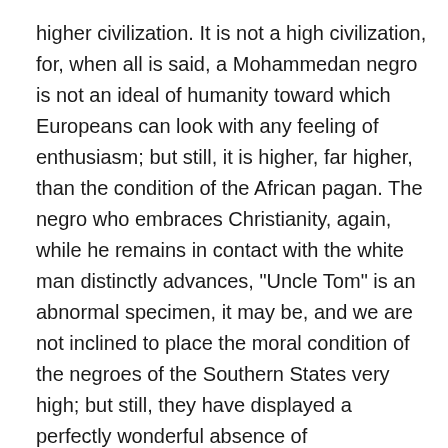higher civilization. It is not a high civilization, for, when all is said, a Mohammedan negro is not an ideal of humanity toward which Europeans can look with any feeling of enthusiasm; but still, it is higher, far higher, than the condition of the African pagan. The negro who embraces Christianity, again, while he remains in contact with the white man distinctly advances, "Uncle Tom" is an abnormal specimen, it may be, and we are not inclined to place the moral condition of the negroes of the Southern States very high; but still, they have displayed a perfectly wonderful absence of vindictiveness toward the former slave-owners, obey the ordinary laws with fair regularity, and keep themselves above starvation by the labor of their own hands. The best of them, moreover, rise far beyond this point, the South containing both doctors and lawyers who, by the admission of the whites, are thoroughly competent men; and it may be said of the whole body that,